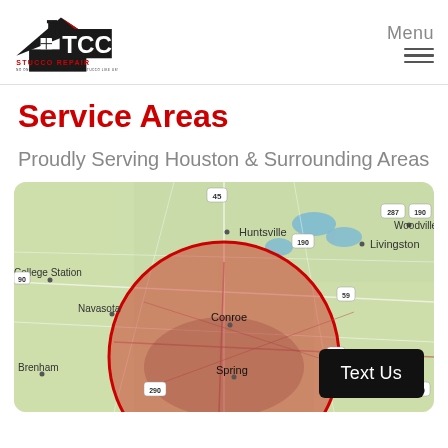[Figure (logo): TCC Stucco Repair logo with house/roof icon in black and red]
Menu
Service Areas
Proudly Serving Houston & Surrounding Areas
[Figure (map): Google map showing Houston area with a red circle overlay covering the service area. Cities visible include Huntsville, Livingston, Woodville, College Station, Navasota, Conroe, Spring, Brenham. Route markers include 45, 190, 287, 59, 69, 290.]
Text Us